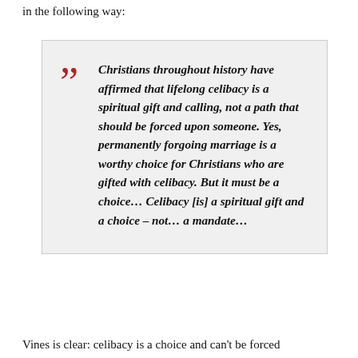in the following way:
Christians throughout history have affirmed that lifelong celibacy is a spiritual gift and calling, not a path that should be forced upon someone. Yes, permanently forgoing marriage is a worthy choice for Christians who are gifted with celibacy. But it must be a choice… Celibacy [is] a spiritual gift and a choice – not… a mandate…
Vines is clear: celibacy is a choice and can't be forced